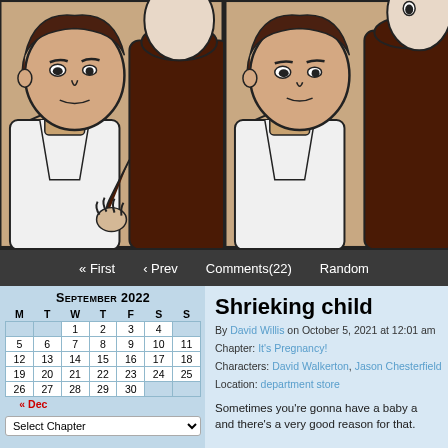[Figure (illustration): Webcomic strip showing two panels. Left panel: a boy with dark hair in a white hoodie looking up at a tall figure in a dark brown turtleneck sweater. Right panel: same two characters, boy looking forward with a different expression, taller figure partially visible.]
« First  ‹ Prev  Comments(22)  Random
Shrieking child
By David Willis on October 5, 2021 at 12:01 am
Chapter: It's Pregnancy!
Characters: David Walkerton, Jason Chesterfield
Location: department store
Sometimes you're gonna have a baby a and there's a very good reason for that.
| M | T | W | T | F | S | S |
| --- | --- | --- | --- | --- | --- | --- |
|  |  | 1 | 2 | 3 | 4 |  |
| 5 | 6 | 7 | 8 | 9 | 10 | 11 |
| 12 | 13 | 14 | 15 | 16 | 17 | 18 |
| 19 | 20 | 21 | 22 | 23 | 24 | 25 |
| 26 | 27 | 28 | 29 | 30 |  |  |
September 2022
« Dec
Select Chapter